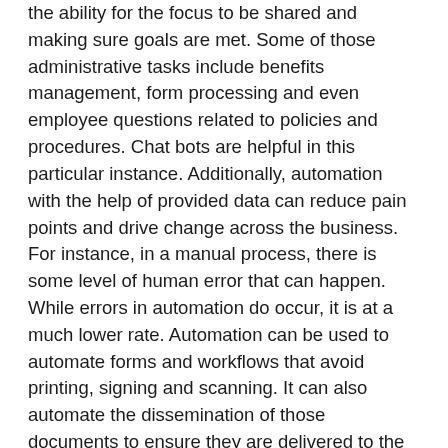the ability for the focus to be shared and making sure goals are met. Some of those administrative tasks include benefits management, form processing and even employee questions related to policies and procedures. Chat bots are helpful in this particular instance. Additionally, automation with the help of provided data can reduce pain points and drive change across the business. For instance, in a manual process, there is some level of human error that can happen. While errors in automation do occur, it is at a much lower rate. Automation can be used to automate forms and workflows that avoid printing, signing and scanning. It can also automate the dissemination of those documents to ensure they are delivered to the appropriate people. And, it can also help in pulling data, filling out systems and databases and elevating manual data entry.
“If HR takes the time to automate the routine day-to-day tasks and ‘paperwork,’ we can be free to really dig into strategy and people development – coaching, training